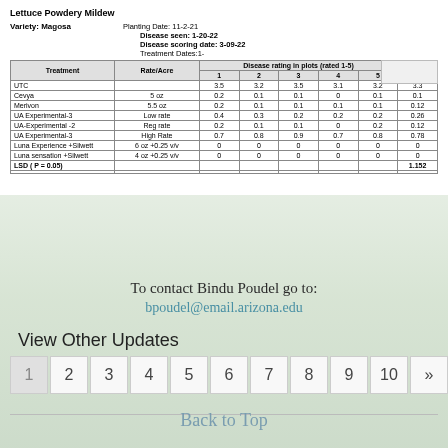Lettuce Powdery Mildew
Variety: Magosa    Planting Date: 11-2-21
Disease seen: 1-20-22
Disease scoring date: 3-09-22
Treatment Dates: 1-
| Treatment | Rate/Acre | 1 | 2 | 3 | 4 | 5 | Mean |
| --- | --- | --- | --- | --- | --- | --- | --- |
| UTC |  | 3.5 | 3.2 | 3.5 | 3.1 | 3.2 | 3.3 |
| Cevya | 5 oz | 0.2 | 0.1 | 0.1 | 0 | 0.1 | 0.1 |
| Merivon | 5.5 oz | 0.2 | 0.1 | 0.1 | 0.1 | 0.1 | 0.12 |
| UA Experimental-3 | Low rate | 0.4 | 0.3 | 0.2 | 0.2 | 0.2 | 0.26 |
| UA-Experimental -2 | Reg rate | 0.2 | 0.1 | 0.1 | 0 | 0.2 | 0.12 |
| UA Experimental-3 | High Rate | 0.7 | 0.8 | 0.9 | 0.7 | 0.8 | 0.78 |
| Luna Experience +Silwett | 6 oz +0.25 v/v | 0 | 0 | 0 | 0 | 0 | 0 |
| Luna sensation +Silwett | 4 oz +0.25 v/v | 0 | 0 | 0 | 0 | 0 | 0 |
| LSD ( P = 0.05) |  |  |  |  |  |  | 1.152 |
To contact Bindu Poudel go to:
bpoudel@email.arizona.edu
View Other Updates
1  2  3  4  5  6  7  8  9  10  »
Back to Top